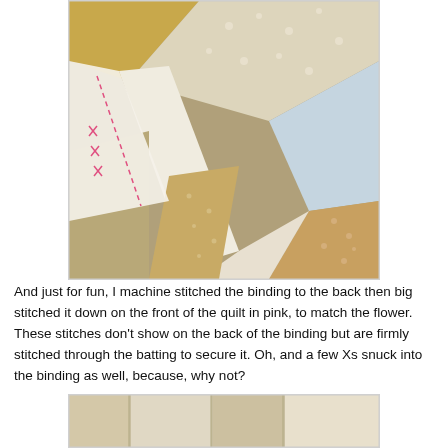[Figure (photo): Close-up photo of a patchwork quilt corner showing various fabric patches in neutral tones (beige, tan, gold, white, light blue) on a brown cardboard-like background. The quilt binding has visible pink/red hand stitching including X marks along the left edge.]
And just for fun, I machine stitched the binding to the back then big stitched it down on the front of the quilt in pink, to match the flower. These stitches don't show on the back of the binding but are firmly stitched through the batting to secure it. Oh, and a few Xs snuck into the binding as well, because, why not?
[Figure (photo): Partial photo at bottom of page showing another view of the patchwork quilt with neutral-colored fabric patches.]